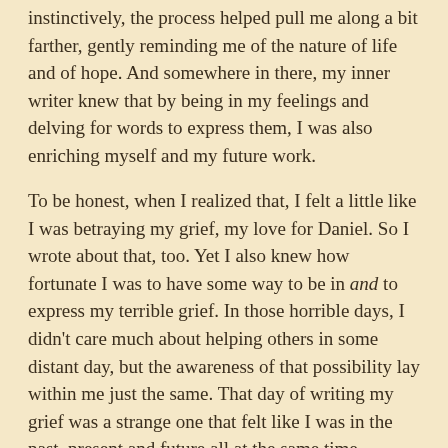...instinctively, the process helped pull me along a bit farther, gently reminding me of the nature of life and of hope. And somewhere in there, my inner writer knew that by being in my feelings and delving for words to express them, I was also enriching myself and my future work.
To be honest, when I realized that, I felt a little like I was betraying my grief, my love for Daniel. So I wrote about that, too. Yet I also knew how fortunate I was to have some way to be in and to express my terrible grief. In those horrible days, I didn't care much about helping others in some distant day, but the awareness of that possibility lay within me just the same. That day of writing my grief was a strange one that felt like I was in the past, present and future all at the same time.
The early days of grief are a vacant,
angry,
stupefied,
impossible time.
Shock turns me into a zombie, incapable of lucid